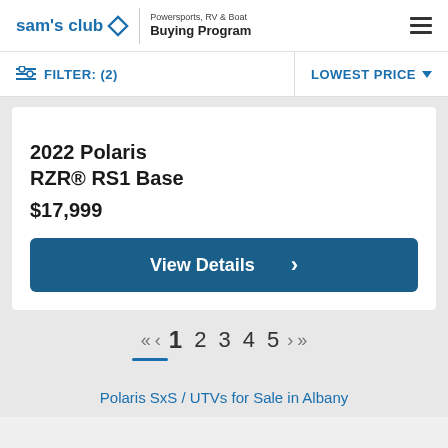sam's club | Powersports, RV & Boat Buying Program
FILTER: (2) | LOWEST PRICE
2022 Polaris RZR® RS1 Base
$17,999
View Details
« ‹ 1 2 3 4 5 › »
Polaris SxS / UTVs for Sale in Albany